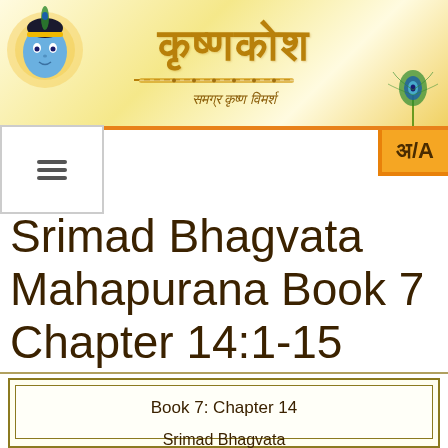कृष्णकोश — समग्र कृष्ण विमर्श
Srimad Bhagvata Mahapurana Book 7 Chapter 14:1-15
Book 7: Chapter 14
Srimad Bhagvata Mahapurana: Book 7: Chapter 14: Verses 1-15
An inquiry into right conduct (continued)